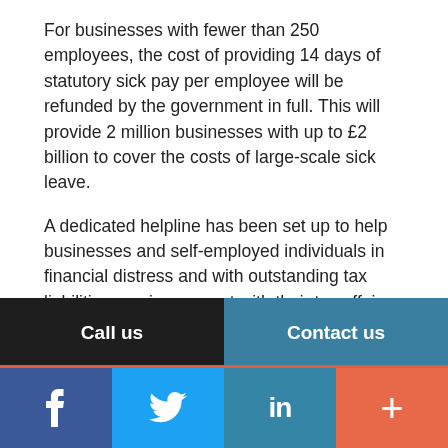For businesses with fewer than 250 employees, the cost of providing 14 days of statutory sick pay per employee will be refunded by the government in full. This will provide 2 million businesses with up to £2 billion to cover the costs of large-scale sick leave.
A dedicated helpline has been set up to help businesses and self-employed individuals in financial distress and with outstanding tax liabilities receive support with their tax affairs. Through this, businesses may be able to agree a bespoke Time to Pay arrangement. If you are concerned about being able to pay your tax due to COVID-19, call HMRC's dedicated helpline on 0800 0159 559.
Call us | Contact us
f  Twitter  in  +